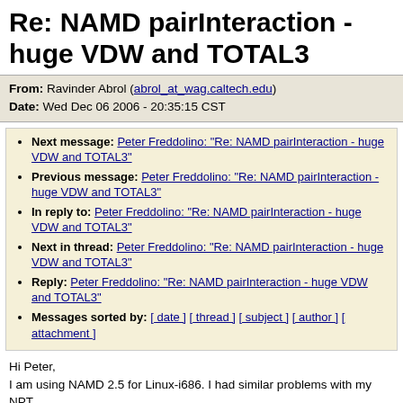Re: NAMD pairInteraction - huge VDW and TOTAL3
From: Ravinder Abrol (abrol_at_wag.caltech.edu)
Date: Wed Dec 06 2006 - 20:35:15 CST
Next message: Peter Freddolino: "Re: NAMD pairInteraction - huge VDW and TOTAL3"
Previous message: Peter Freddolino: "Re: NAMD pairInteraction - huge VDW and TOTAL3"
In reply to: Peter Freddolino: "Re: NAMD pairInteraction - huge VDW and TOTAL3"
Next in thread: Peter Freddolino: "Re: NAMD pairInteraction - huge VDW and TOTAL3"
Reply: Peter Freddolino: "Re: NAMD pairInteraction - huge VDW and TOTAL3"
Messages sorted by: [ date ] [ thread ] [ subject ] [ author ] [ attachment ]
Hi Peter,
I am using NAMD 2.5 for Linux-i686. I had similar problems with my NPT.